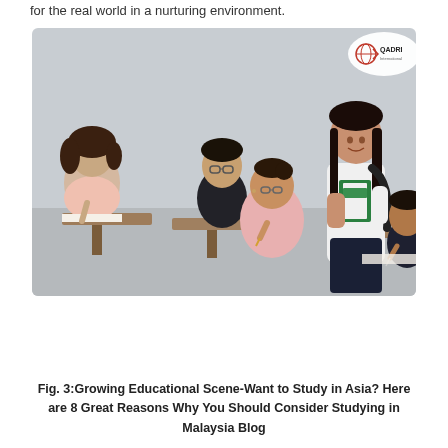for the real world in a nurturing environment.
[Figure (photo): Students in a classroom setting. A young woman stands holding green notebooks and a backpack, smiling at the camera. Behind her, other students are seated at desks writing. A Qadri International logo is in the top-right corner of the image.]
Fig. 3:Growing Educational Scene-Want to Study in Asia? Here are 8 Great Reasons Why You Should Consider Studying in Malaysia Blog